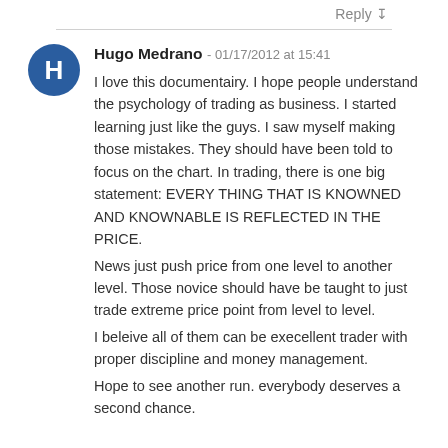Reply ↧
Hugo Medrano - 01/17/2012 at 15:41
I love this documentairy. I hope people understand the psychology of trading as business. I started learning just like the guys. I saw myself making those mistakes. They should have been told to focus on the chart. In trading, there is one big statement: EVERY THING THAT IS KNOWNED AND KNOWNABLE IS REFLECTED IN THE PRICE.
News just push price from one level to another level. Those novice should have be taught to just trade extreme price point from level to level.
I beleive all of them can be execellent trader with proper discipline and money management.
Hope to see another run. everybody deserves a second chance.